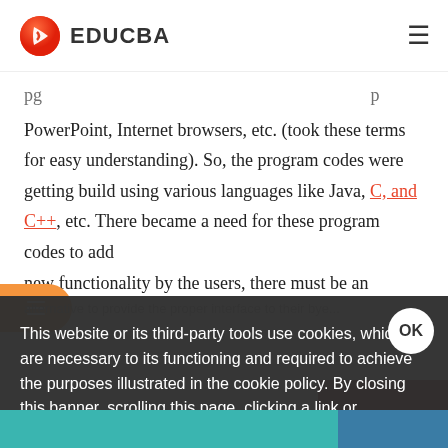EDUCBA
pg... PowerPoint, Internet browsers, etc. (took these terms for easy understanding). So, the program codes were getting build using various languages like Java, C, and C++, etc. There became a need for these program codes to add new functionality by the users, there must be an alternative to provide the proper interface to their bye...
This website or its third-party tools use cookies, which are necessary to its functioning and required to achieve the purposes illustrated in the cookie policy. By closing this banner, scrolling this page, clicking a link or continuing to browse otherwise, you agree to our Privacy Policy